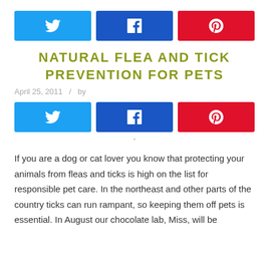[Figure (infographic): Social share buttons row: Twitter (light blue), Facebook (dark blue), Pinterest (red)]
NATURAL FLEA AND TICK PREVENTION FOR PETS
April 25, 2011   /   by
[Figure (infographic): Social share buttons row (second): Twitter (light blue), Facebook (dark blue), Pinterest (red)]
If you are a dog or cat lover you know that protecting your animals from fleas and ticks is high on the list for responsible pet care. In the northeast and other parts of the country ticks can run rampant, so keeping them off pets is essential. In August our chocolate lab, Miss, will be